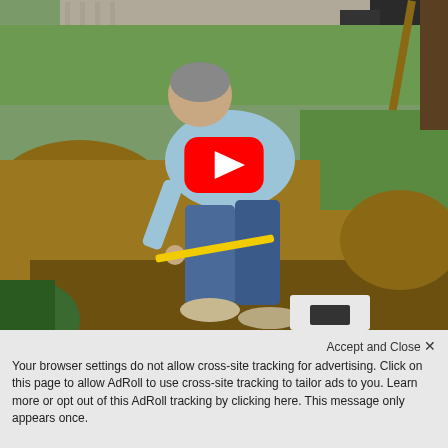[Figure (screenshot): A man in a light blue shirt and jeans bending over and working in a dirt excavation area, measuring something with a yellow tape measure near a septic tank or pipe. A YouTube play button overlay is visible in the center of the image.]
Accept and Close ×
Your browser settings do not allow cross-site tracking for advertising. Click on this page to allow AdRoll to use cross-site tracking to tailor ads to you. Learn more or opt out of this AdRoll tracking by clicking here. This message only appears once.